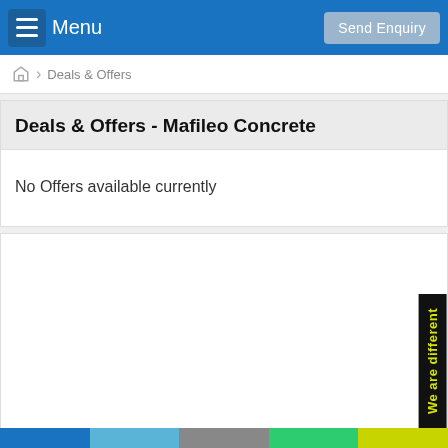Menu | Send Enquiry
Deals & Offers
Deals & Offers - Mafileo Concrete
No Offers available currently
[Figure (screenshot): Side badge with text 'We are different' in yellow on black background, rotated vertically]